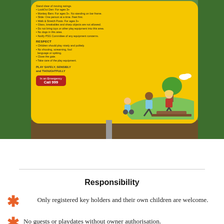[Figure (photo): A photograph of a yellow playground safety sign mounted on a pole, surrounded by green foliage. The sign contains rules under headings including RESPECT, with bullet points about playground behaviour, and a red emergency box reading 'In an Emergency Call 999'. Cartoon children are illustrated on the right side of the sign.]
Responsibility
Only registered key holders and their own children are welcome.
No guests or playdates without owner authorisation.